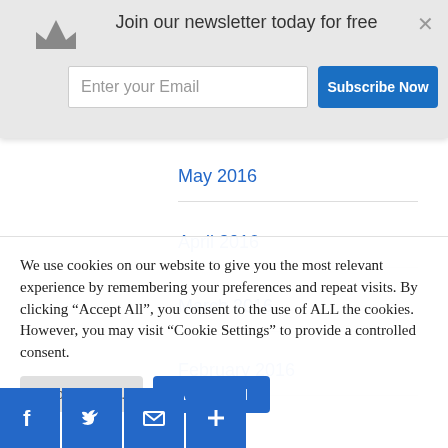Join our newsletter today for free
[Figure (screenshot): Newsletter subscription banner with crown icon, email input field, Subscribe Now button, and close X button]
May 2016
April 2016
March 2016
February 2016
We use cookies on our website to give you the most relevant experience by remembering your preferences and repeat visits. By clicking “Accept All”, you consent to the use of ALL the cookies. However, you may visit “Cookie Settings” to provide a controlled consent.
[Figure (screenshot): Cookie consent buttons: Cookie Settings (grey) and Accept All (blue)]
[Figure (screenshot): Social share bar with Facebook, Twitter, Email, and Plus buttons in blue]